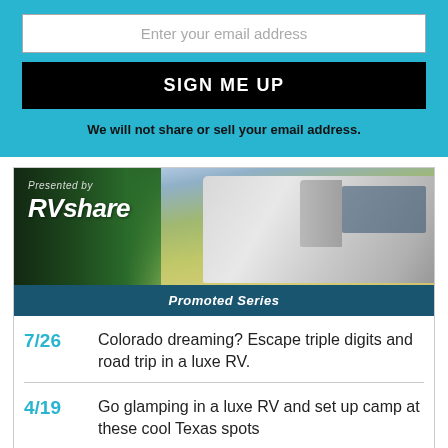Enter your email address
SIGN ME UP
We will not share or sell your email address.
[Figure (illustration): RVshare promotional banner showing a luxury RV at a campsite with trees, labeled 'Presented by RVshare' and 'Promoted Series']
7/26  Colorado dreaming? Escape triple digits and road trip in a luxe RV.
4/19  Go glamping in a luxe RV and set up camp at these cool Texas spots